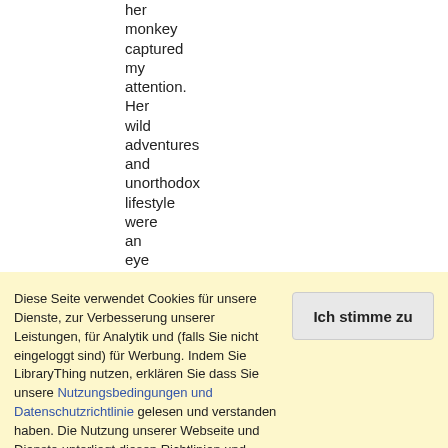her monkey captured my attention. Her wild adventures and unorthodox lifestyle were an eye opener.
Diese Seite verwendet Cookies für unsere Dienste, zur Verbesserung unserer Leistungen, für Analytik und (falls Sie nicht eingeloggt sind) für Werbung. Indem Sie LibraryThing nutzen, erklären Sie dass Sie unsere Nutzungsbedingungen und Datenschutzrichtlinie gelesen und verstanden haben. Die Nutzung unserer Webseite und Dienste unterliegt diesen Richtlinien und Geschäftsbedingungen.